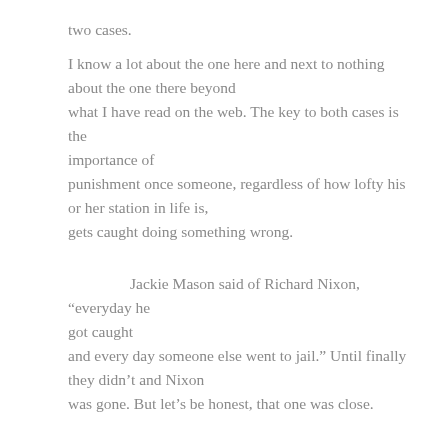two cases.

I know a lot about the one here and next to nothing about the one there beyond what I have read on the web. The key to both cases is the importance of punishment once someone, regardless of how lofty his or her station in life is, gets caught doing something wrong.

	Jackie Mason said of Richard Nixon, “everyday he got caught and every day someone else went to jail.” Until finally they didn’t and Nixon was gone. But let’s be honest, that one was close.